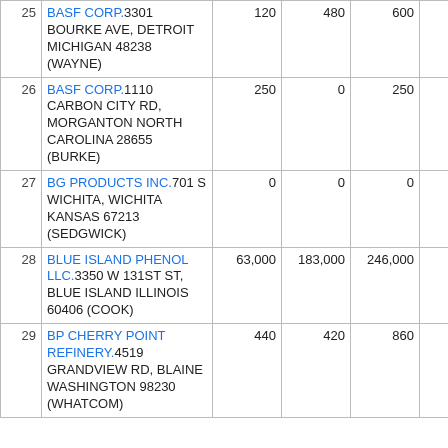| # | Facility Name / Address | Col A | Col B | Col C | Col D | Col E |
| --- | --- | --- | --- | --- | --- | --- |
| 25 | BASF CORP.3301 BOURKE AVE, DETROIT MICHIGAN 48238 (WAYNE) | 120 | 480 | 600 | 0 |  |
| 26 | BASF CORP.1110 CARBON CITY RD, MORGANTON NORTH CAROLINA 28655 (BURKE) | 250 | 0 | 250 | 0 |  |
| 27 | BG PRODUCTS INC.701 S WICHITA, WICHITA KANSAS 67213 (SEDGWICK) | 0 | 0 | 0 | 0 |  |
| 28 | BLUE ISLAND PHENOL LLC.3350 W 131ST ST, BLUE ISLAND ILLINOIS 60406 (COOK) | 63,000 | 183,000 | 246,000 | 0 |  |
| 29 | BP CHERRY POINT REFINERY.4519 GRANDVIEW RD, BLAINE WASHINGTON 98230 (WHATCOM) | 440 | 420 | 860 | 0 |  |